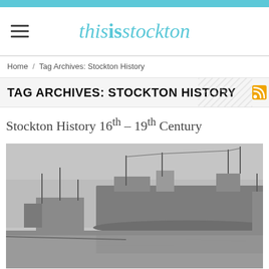thisisstockton
Home / Tag Archives: Stockton History
TAG ARCHIVES: STOCKTON HISTORY
Stockton History 16th – 19th Century
[Figure (photo): Historical black and white photograph of ships/vessels docked at a harbour or river, with industrial structures in the background, related to Stockton History.]